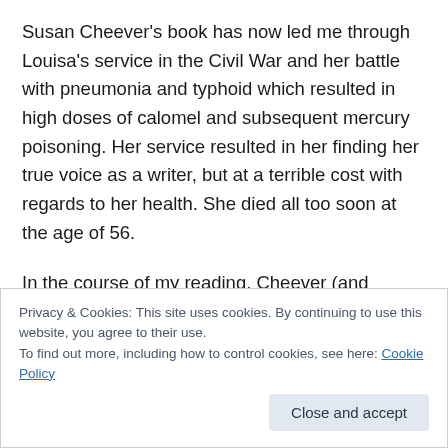Susan Cheever's book has now led me through Louisa's service in the Civil War and her battle with pneumonia and typhoid which resulted in high doses of calomel and subsequent mercury poisoning. Her service resulted in her finding her true voice as a writer, but at a terrible cost with regards to her health. She died all too soon at the age of 56.
In the course of my reading, Cheever (and Harriet Reisen too) noted a paper by two doctors who attempted to diagnose what ailed Louisa throughout the latter years of
Privacy & Cookies: This site uses cookies. By continuing to use this website, you agree to their use.
To find out more, including how to control cookies, see here: Cookie Policy